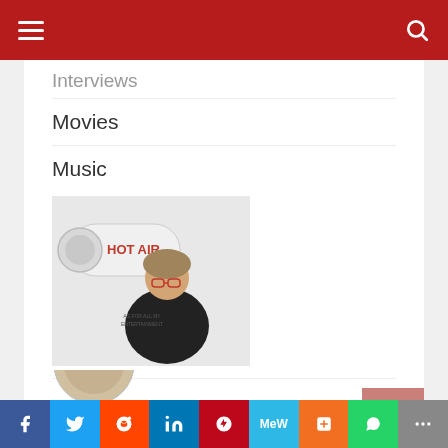Navigation bar with hamburger menu and search icon
Interviews
Movies
Music
[Figure (photo): Person holding a large novelty hair dryer prop labeled 'HOT AIR', wearing glasses and a black t-shirt, lying/standing against a white background]
Print
Television
Theatre
Charities
[Figure (photo): Partial circular image visible at bottom of page]
Social sharing bar: Facebook, Twitter, Reddit, LinkedIn, Pinterest, MeWe, Mix, WhatsApp, More